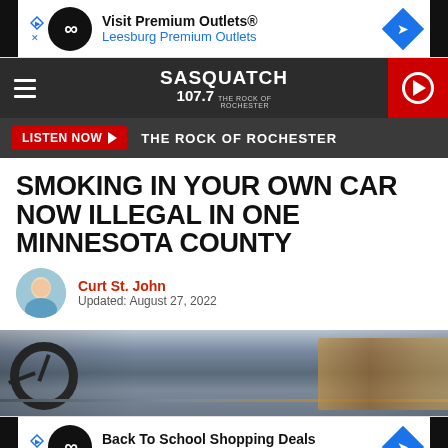[Figure (screenshot): Top advertisement banner: Visit Premium Outlets® / Leesburg Premium Outlets with infinity logo circle and blue diamond arrow icon]
[Figure (screenshot): Sasquatch 107.7 The Rock of Rochester radio station navigation bar with hamburger menu and red play button]
[Figure (screenshot): Listen Now button bar with red button and tagline THE ROCK OF ROCHESTER]
SMOKING IN YOUR OWN CAR NOW ILLEGAL IN ONE MINNESOTA COUNTY
Curt St. John
Updated: August 27, 2022
[Figure (photo): Interior of a car showing steering wheel and dashboard with wood trim]
[Figure (screenshot): Bottom advertisement banner: Back To School Shopping Deals / Leesburg Premium Outlets with infinity logo circle and blue diamond arrow icon]